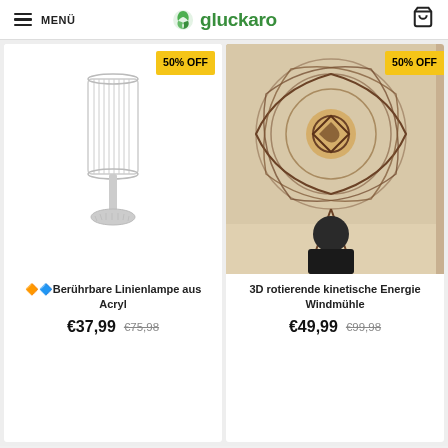MENÜ | gluckaro | cart
[Figure (photo): Product card 1: Crystal/acrylic line lamp on white background, with 50% OFF badge]
🔶🔷Berührbare Linienlampe aus Acryl
€37,99  €75,98
[Figure (photo): Product card 2: 3D rotating kinetic energy windmill wooden wall art, man shown for scale, with 50% OFF badge]
3D rotierende kinetische Energie Windmühle
€49,99  €99,98